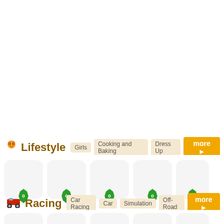🧒 Lifestyle | Girls | Cooking and Baking | Dress Up | more ▶
[Figure (screenshot): Row of 5 game thumbnails with green badge shields showing '0' rating each, under Lifestyle section]
🚜 Racing | Car Racing | Car | Simulation | Off-Road | more ▶
[Figure (screenshot): Row of partial game thumbnails under Racing section, visible at bottom]